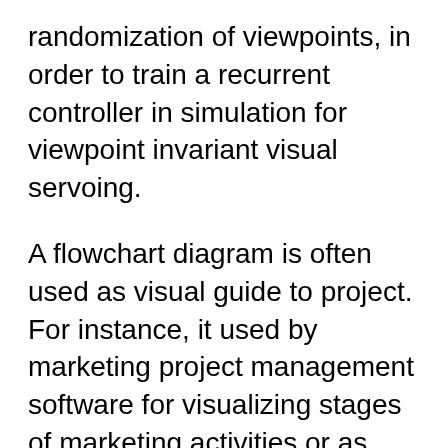randomization of viewpoints, in order to train a recurrent controller in simulation for viewpoint invariant visual servoing.
A flowchart diagram is often used as visual guide to project. For instance, it used by marketing project management software for visualizing stages of marketing activities or as project management workflow tools. Created with ConceptDraw DIAGRAM v12 — business process mapping software which is flowcharting visio alternative or shortly its visio for mac, this sort of software platform often This .pdf is a visual guide to the Get Mobile intermediate workout. Take it with you anywhere you train. TM MONTHLY